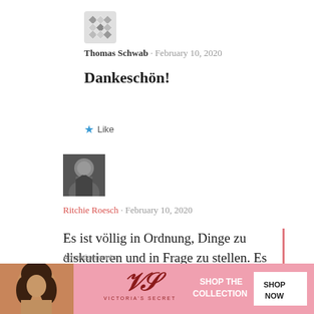[Figure (illustration): Avatar icon for Thomas Schwab — geometric diamond/cross pattern in gray and white]
Thomas Schwab · February 10, 2020
Dankeschön!
★ Like
[Figure (photo): Avatar photo for Ritchie Roesch — black and white photo of person with arms crossed]
Ritchie Roesch · February 10, 2020
Es ist völlig in Ordnung, Dinge zu diskutieren und in Frage zu stellen. Es ist in Ordnung zu sagen, "Er sieht nervig aus" oder "Ich würde das niemals tun."
Advertisements
[Figure (illustration): Victoria's Secret advertisement banner — pink background, model, VS logo, SHOP THE COLLECTION, SHOP NOW button]